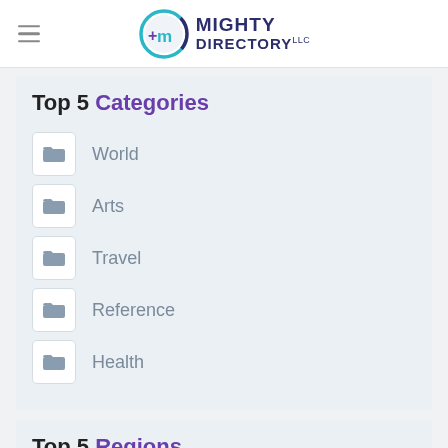Mighty Directory LLC
Top 5 Categories
World
Arts
Travel
Reference
Health
Top 5 Regions